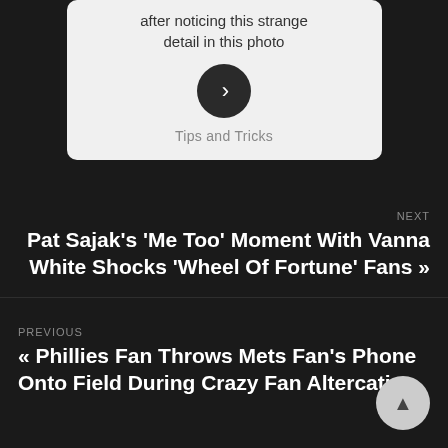[Figure (other): Card with text 'after noticing this strange detail in this photo', a dark circle button with chevron, and 'Tips and Tricks' label]
NEXT
Pat Sajak's 'Me Too' Moment With Vanna White Shocks 'Wheel Of Fortune' Fans »
PREVIOUS
« Phillies Fan Throws Mets Fan's Phone Onto Field During Crazy Fan Altercation